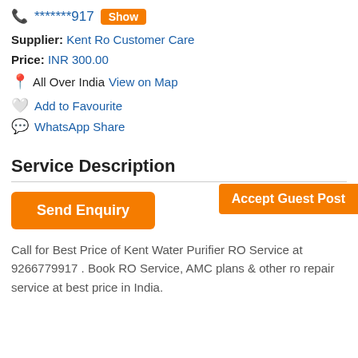******* 917 Show
Supplier: Kent Ro Customer Care
Price: INR 300.00
All Over India View on Map
Add to Favourite
WhatsApp Share
Accept Guest Post
Service Description
Send Enquiry
Call for Best Price of Kent Water Purifier RO Service at 9266779917 . Book RO Service, AMC plans & other ro repair service at best price in India.